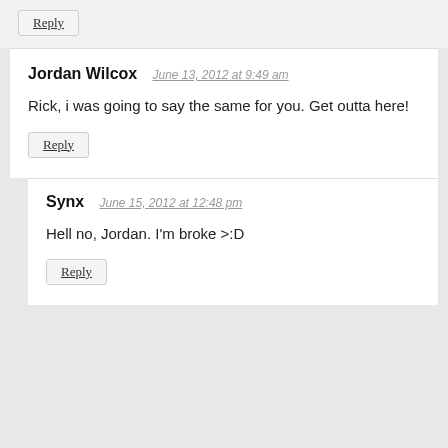Reply
Jordan Wilcox   June 13, 2012 at 9:49 am
Rick, i was going to say the same for you. Get outta here!
Reply
Synx   June 15, 2012 at 12:48 pm
Hell no, Jordan. I'm broke >:D
Reply